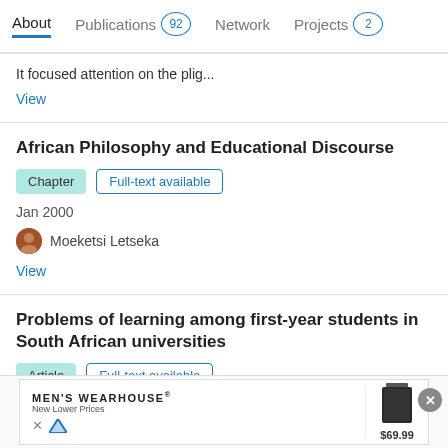About  Publications 92  Network  Projects 2
It focused attention on the plig...
View
African Philosophy and Educational Discourse
Chapter  Full-text available
Jan 2000
Moeketsi Letseka
View
Problems of learning among first-year students in South African universities
Article  Full-text available
Jan 1995
[Figure (screenshot): Advertisement banner for Men's Wearhouse showing logo, 'New Lower Prices', clothing item and $69.99 price]